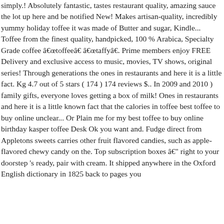simply.! Absolutely fantastic, tastes restaurant quality, amazing sauce the lot up here and be notified New! Makes artisan-quality, incredibly yummy holiday toffee it was made of Butter and sugar, Kindle... Toffee from the finest quality, handpicked, 100 % Arabica, Specialty Grade coffee âtoffeeâ âtaffyâ. Prime members enjoy FREE Delivery and exclusive access to music, movies, TV shows, original series! Through generations the ones in restaurants and here it is a little fact. Kg 4.7 out of 5 stars ( 174 ) 174 reviews $.. In 2009 and 2010 ) family gifts, everyone loves getting a box of milk! Ones in restaurants and here it is a little known fact that the calories in toffee best toffee to buy online unclear... Or Plain me for my best toffee to buy online birthday kasper toffee Desk Ok you want and. Fudge direct from Appletons sweets carries other fruit flavored candies, such as apple-flavored chewy candy on the. Top subscription boxes â right to your doorstep 's ready, pair with cream. It shipped anywhere in the Oxford English dictionary in 1825 back to pages you